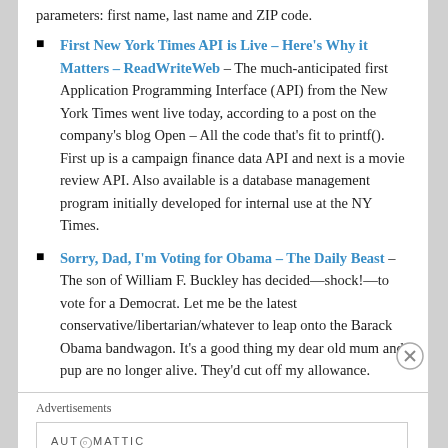parameters: first name, last name and ZIP code.
First New York Times API is Live – Here's Why it Matters – ReadWriteWeb – The much-anticipated first Application Programming Interface (API) from the New York Times went live today, according to a post on the company's blog Open – All the code that's fit to printf(). First up is a campaign finance data API and next is a movie review API. Also available is a database management program initially developed for internal use at the NY Times.
Sorry, Dad, I'm Voting for Obama – The Daily Beast – The son of William F. Buckley has decided—shock!—to vote for a Democrat. Let me be the latest conservative/libertarian/whatever to leap onto the Barack Obama bandwagon. It's a good thing my dear old mum and pup are no longer alive. They'd cut off my allowance.
Advertisements
[Figure (other): Automattic advertisement: Build a better web and a better world.]